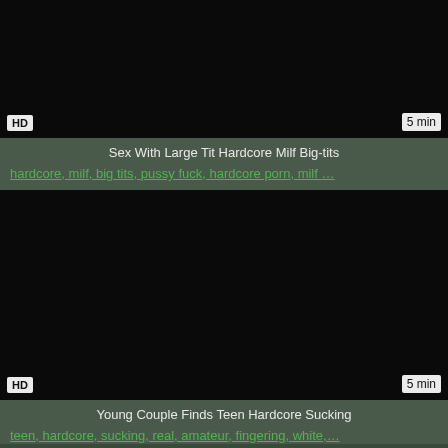[Figure (screenshot): Dark video thumbnail with HD badge and 5 min duration label]
Sex With Large Tit Hardcore Milf Big-tits
hardcore, milf, big tits, pussy fuck, hardcore porn, milf ...
[Figure (screenshot): Dark video thumbnail with HD badge and 5 min duration label]
Young Couple Finds Teen Hardcore Sucking
teen, hardcore, sucking, real, amateur, fingering, white,...